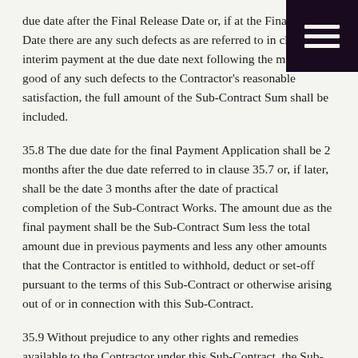due date after the Final Release Date or, if at the Final Release Date there are any such defects as are referred to in clause, the interim payment at the due date next following the making good of any such defects to the Contractor's reasonable satisfaction, the full amount of the Sub-Contract Sum shall be included.
35.8 The due date for the final Payment Application shall be 2 months after the due date referred to in clause 35.7 or, if later, shall be the date 3 months after the date of practical completion of the Sub-Contract Works. The amount due as the final payment shall be the Sub-Contract Sum less the total amount due in previous payments and less any other amounts that the Contractor is entitled to withhold, deduct or set-off pursuant to the terms of this Sub-Contract or otherwise arising out of or in connection with this Sub-Contract.
35.9 Without prejudice to any other rights and remedies available to the Contractor under this Sub-Contract, the Sub-Contractor acknowledges and agrees that:
35.9.1 the submission of a valid Payment Application which